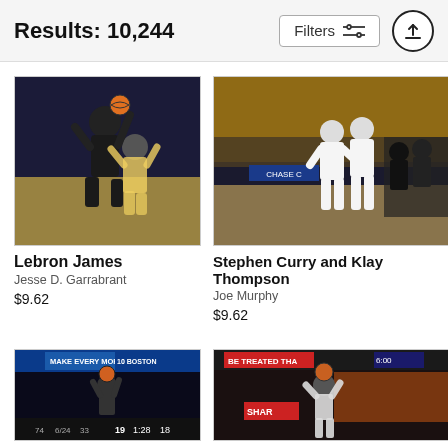Results: 10,244
[Figure (photo): Basketball game action shot - Lebron James jumping to shoot over a defender]
Lebron James
Jesse D. Garrabrant
$9.62
[Figure (photo): Stephen Curry and Klay Thompson standing on basketball court with crowd in background]
Stephen Curry and Klay Thompson
Joe Murphy
$9.62
[Figure (photo): Basketball player shooting in arena with scoreboard showing MAKE EVERY MORNING A TEN and BOSTON]
[Figure (photo): Basketball player shooting in arena with BE TREATED and SHARK signage visible]